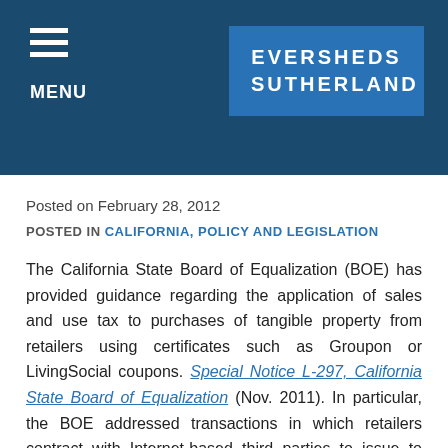MENU | EVERSHEDS SUTHERLAND
Posted on February 28, 2012
POSTED IN CALIFORNIA, POLICY AND LEGISLATION
The California State Board of Equalization (BOE) has provided guidance regarding the application of sales and use tax to purchases of tangible property from retailers using certificates such as Groupon or LivingSocial coupons. Special Notice L-297, California State Board of Equalization (Nov. 2011). In particular, the BOE addressed transactions in which retailers contract with Internet-based third parties to issue to retail customers “deal-of-the-day instruments” (DDI) that are redeemable to purchase tangible property at a discount from those retailers.